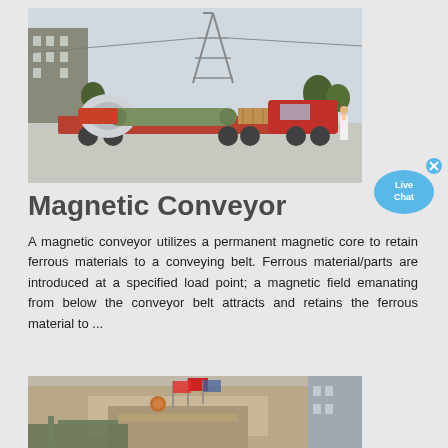[Figure (photo): A large truck/semi-trailer carrying oversized industrial equipment (grinding mill parts or similar machinery) on a flatbed, parked on a road with industrial buildings and a power transmission tower in the background. A worker stands near the truck.]
Magnetic Conveyor
A magnetic conveyor utilizes a permanent magnetic core to retain ferrous materials to a conveying belt. Ferrous material/parts are introduced at a specified load point; a magnetic field emanating from below the conveyor belt attracts and retains the ferrous material to ...
[Figure (photo): Exterior of a multi-story industrial or commercial building with flags (including a Chinese flag) displayed at the entrance, with what appears to be construction or industrial equipment in the foreground.]